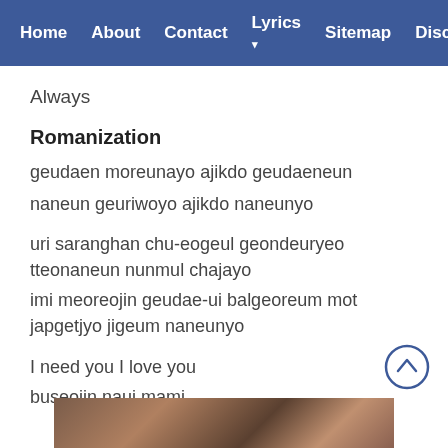Home   About   Contact   Lyrics ▾   Sitemap   Discla…
Always
Romanization
geudaen moreunayo ajikdo geudaeneun
naneun geuriwoyo ajikdo naneunyo
uri saranghan chu-eogeul geondeuryeo tteonaneun nunmul chajayo
imi meoreojin geudae-ui balgeoreum mot japgetjyo jigeum naneunyo
I need you I love you
buseojin naui mami
[Figure (photo): Partial view of a person at the bottom of the page]